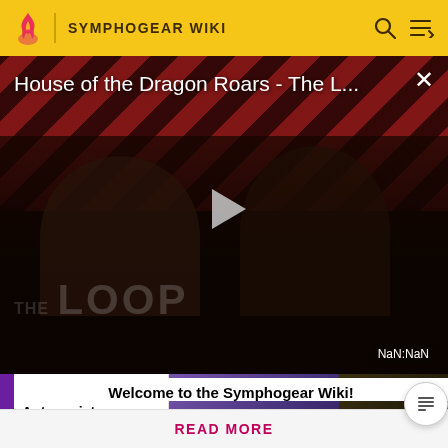SYMPHOGEAR WIKI
[Figure (screenshot): Video player showing 'House of the Dragon Roars - The L...' with a play button overlay, 'THE LOOP' watermark text, and NaN:NaN timer. Red/black diagonal striped background with dark scene below.]
Minor Antagonists
Welcome to the Symphogear Wiki!
READ MORE